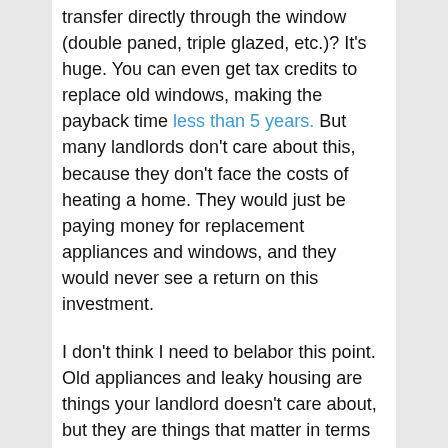transfer directly through the window (double paned, triple glazed, etc.)? It's huge. You can even get tax credits to replace old windows, making the payback time less than 5 years. But many landlords don't care about this, because they don't face the costs of heating a home. They would just be paying money for replacement appliances and windows, and they would never see a return on this investment.
I don't think I need to belabor this point. Old appliances and leaky housing are things your landlord doesn't care about, but they are things that matter in terms of energy use.
So how to fix it? That's for policy people to figure out. I'm not one of them. But I would suggest a few things:
1. Require that landlords report yearly costs of heating to 65F in winter, and cooling to 75F in summer, as well as electricity bills, every time they show an apartment to a potential tenant. This way tenants can add this price in to